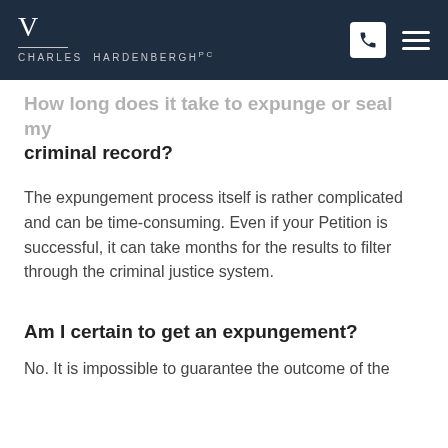Charles V. Hardenbergh PC — navigation bar with logo, phone icon, and menu icon
How long does it take to expunge or seal my criminal record?
The expungement process itself is rather complicated and can be time-consuming. Even if your Petition is successful, it can take months for the results to filter through the criminal justice system.
Am I certain to get an expungement?
No. It is impossible to guarantee the outcome of the